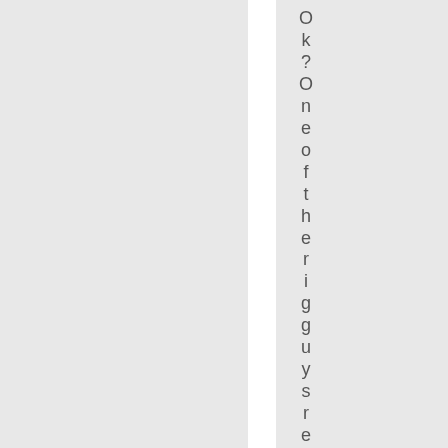Ok? One of the rigguy s returning f